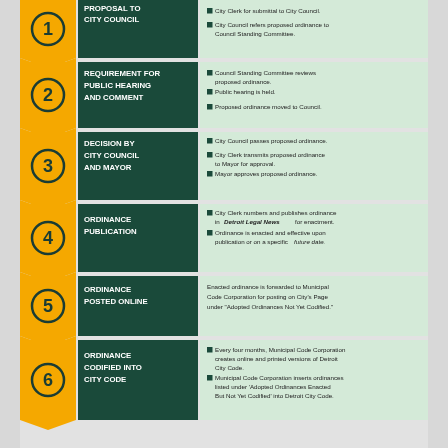[Figure (infographic): 6-step ordinance process flowchart for City of Detroit. Each step has a numbered yellow chevron badge, a dark green title panel, and a light green description panel. Steps: 1) Proposal to City Council, 2) Requirement for Public Hearing and Comment, 3) Decision by City Council and Mayor, 4) Ordinance Publication, 5) Ordinance Posted Online, 6) Ordinance Codified into City Code.]